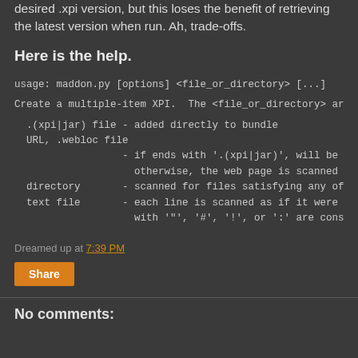desired .xpi version, but this loses the benefit of retrieving the latest version when run. Ah, trade-offs.
Here is the help.
usage: maddon.py [options] <file_or_directory> [...]
Create a multiple-item XPI.  The <file_or_directory> argu
.(xpi|jar) file - added directly to bundle
  URL, .webloc file
                  - if ends with '.(xpi|jar)', will be do
                    otherwise, the web page is scanned fo
  directory       - scanned for files satisfying any of t
  text file       - each line is scanned as if it were gi
                    with '"', '#', '!', or ':' are consid
Dreamed up at 7:39 PM
Share
No comments: